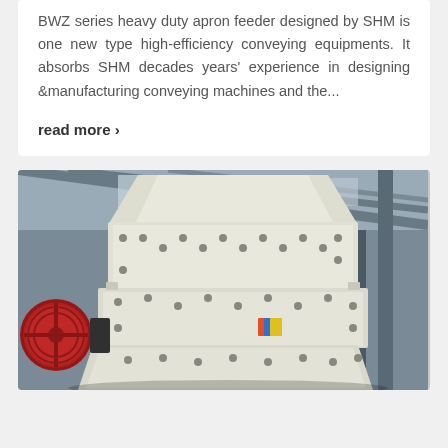BWZ series heavy duty apron feeder designed by SHM is one new type high-efficiency conveying equipments. It absorbs SHM decades years' experience in designing &manufacturing conveying machines and the...
read more ›
[Figure (photo): Industrial heavy-duty impact crusher machine painted cream/white, photographed from below in a factory/warehouse setting with steel roof structure visible. A red pulley wheel is visible on the left side. The machine has multiple bolted panels and mounting points.]